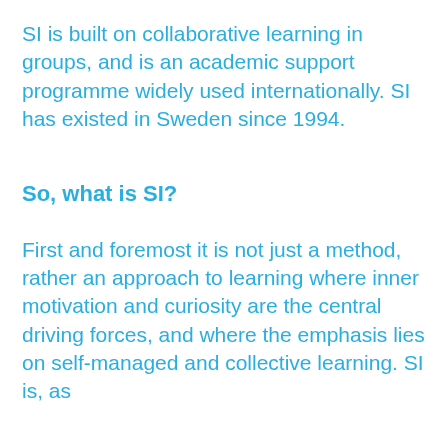SI is built on collaborative learning in groups, and is an academic support programme widely used internationally. SI has existed in Sweden since 1994.
So, what is SI?
First and foremost it is not just a method, rather an approach to learning where inner motivation and curiosity are the central driving forces, and where the emphasis lies on self-managed and collective learning. SI is, as